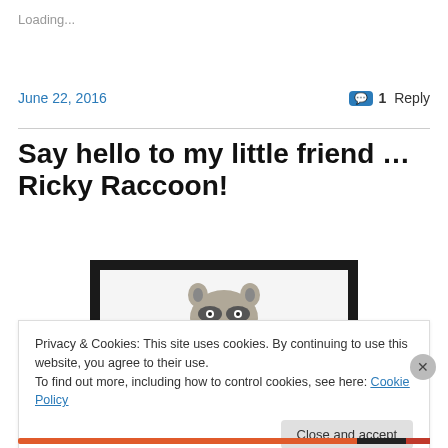Loading...
June 22, 2016
1 Reply
Say hello to my little friend ... Ricky Raccoon!
[Figure (photo): A framed artwork/print of a raccoon face, black frame with white mat, partially visible]
Privacy & Cookies: This site uses cookies. By continuing to use this website, you agree to their use.
To find out more, including how to control cookies, see here: Cookie Policy
Close and accept